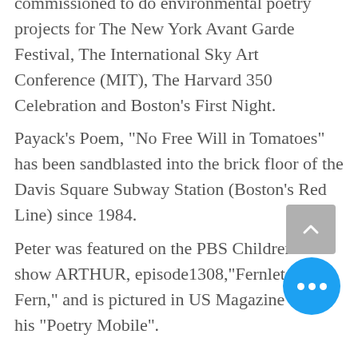commissioned to do environmental poetry projects for The New York Avant Garde Festival, The International Sky Art Conference (MIT), The Harvard 350 Celebration and Boston's First Night. Payack's Poem, "No Free Will in Tomatoes" has been sandblasted into the brick floor of the Davis Square Subway Station (Boston's Red Line) since 1984. Peter was featured on the PBS Children's show ARTHUR, episode1308,"Fernlets for Fern," and is pictured in US Magazine with his "Poetry Mobile".